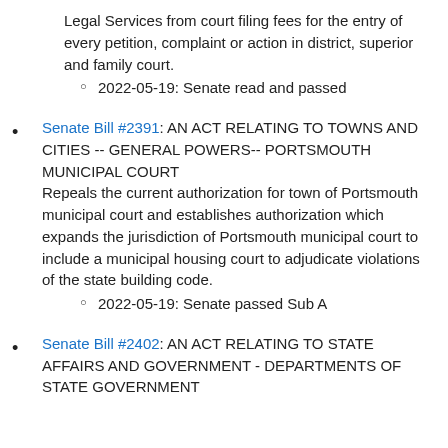Legal Services from court filing fees for the entry of every petition, complaint or action in district, superior and family court.
2022-05-19: Senate read and passed
Senate Bill #2391: AN ACT RELATING TO TOWNS AND CITIES -- GENERAL POWERS-- PORTSMOUTH MUNICIPAL COURT
Repeals the current authorization for town of Portsmouth municipal court and establishes authorization which expands the jurisdiction of Portsmouth municipal court to include a municipal housing court to adjudicate violations of the state building code.
2022-05-19: Senate passed Sub A
Senate Bill #2402: AN ACT RELATING TO STATE AFFAIRS AND GOVERNMENT - DEPARTMENTS OF STATE GOVERNMENT